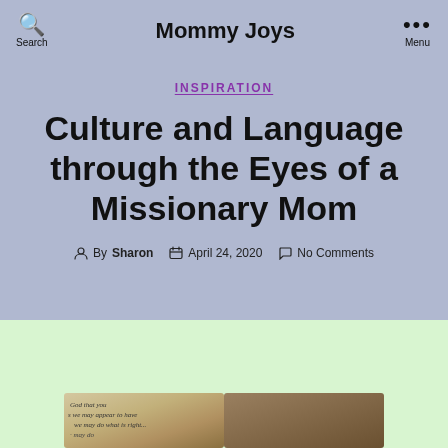Mommy Joys
INSPIRATION
Culture and Language through the Eyes of a Missionary Mom
By Sharon  April 24, 2020  No Comments
[Figure (photo): Bottom section with light green background and a partial photo of a handwritten or printed text page]